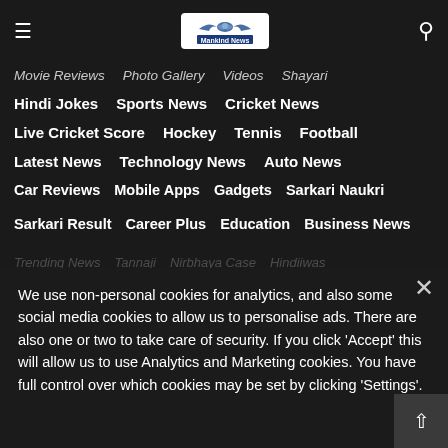Mankind News
Movie Reviews   Photo Gallery   Videos   Shayari
Hindi Jokes   Sports News   Cricket News
Live Cricket Score   Hockey   Tennis   Football
Latest News   Technology News   Auto News
Car Reviews   Mobile Apps   Gadgets   Sarkari Naukri
Sarkari Result   Career Plus   Education   Business News
Trending News   Tannaji   Nirbhaya Case   Hindiiwas
Sarkari Naukri   Bhosik Toshan   Chinpak Kehney
Chandra Grahan 2020   Cyrus Mistry   Delhi Election
We use non-personal cookies for analytics, and also some social media cookies to allow us to personalise ads. There are also one or two to take care of security. If you click 'Accept' this will allow us to use Analytics and Marketing cookies. You have full control over which cookies may be set by clicking 'Settings'.